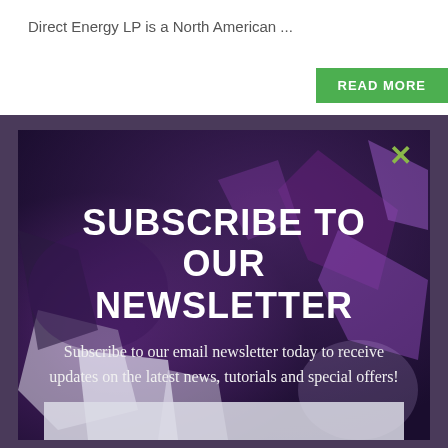Direct Energy LP is a North American ...
[Figure (screenshot): Green READ MORE button partially visible at top right]
[Figure (illustration): Newsletter subscription modal popup with dark purple/violet crystalline background. Contains a close X button, title 'SUBSCRIBE TO OUR NEWSLETTER', descriptive text, and an email input field at the bottom.]